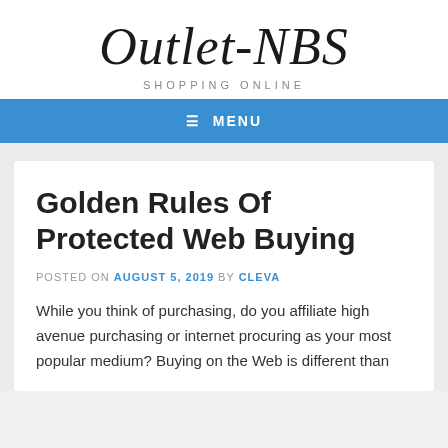Outlet-NBS
SHOPPING ONLINE
≡ MENU
Golden Rules Of Protected Web Buying
POSTED ON AUGUST 5, 2019 BY CLEVA
While you think of purchasing, do you affiliate high avenue purchasing or internet procuring as your most popular medium? Buying on the Web is different than